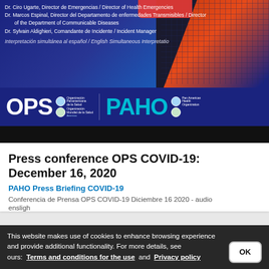[Figure (screenshot): PAHO/OPS COVID-19 press conference banner showing speaker names, OPS and PAHO logos on dark blue and orange/red background]
Press conference OPS COVID-19: December 16, 2020
PAHO Press Briefing COVID-19
Conferencia de Prensa OPS COVID-19 Diciembre 16 2020 - audio
ensligh
This website makes use of cookies to enhance browsing experience and provide additional functionality. For more details, see ours: Terms and conditions for the use and Privacy policy